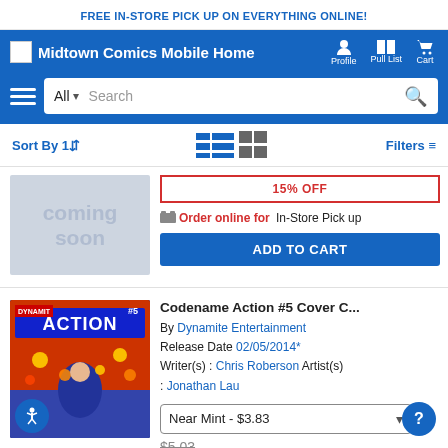FREE IN-STORE PICK UP ON EVERYTHING ONLINE!
[Figure (screenshot): Midtown Comics Mobile Home navigation bar with Profile, Pull List, Cart icons]
[Figure (screenshot): Search bar with All dropdown, Search input, and search icon]
Sort By | Filters
[Figure (screenshot): Coming soon placeholder image for a comic book]
15% OFF
Order online for In-Store Pick up
ADD TO CART
[Figure (illustration): Comic book cover for Codename Action #5 Cover C showing an action hero with explosions]
Codename Action #5 Cover C...
By Dynamite Entertainment
Release Date 02/05/2014*
Writer(s) : Chris Roberson Artist(s) : Jonathan Lau
Near Mint - $3.83
$5.03